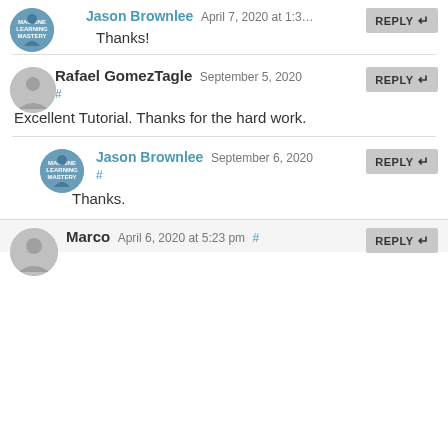Jason Brownlee April 7, 2020 at 1:3… REPLY
Thanks!
Rafael GomezTagle September 5, 2020 REPLY
#
Excellent Tutorial. Thanks for the hard work.
Jason Brownlee September 6, 2020 REPLY
#
Thanks.
Marco April 6, 2020 at 5:23 pm # REPLY